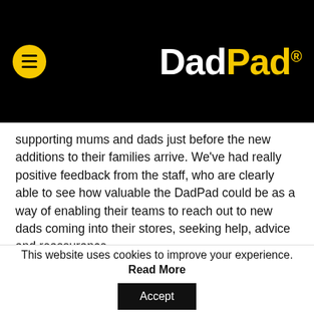DadPad®
supporting mums and dads just before the new additions to their families arrive. We've had really positive feedback from the staff, who are clearly able to see how valuable the DadPad could be as a way of enabling their teams to reach out to new dads coming into their stores, seeking help, advice and reassurance.
The EPEs also give Julian the chance to meet up with other innovative professionals in the field.  It was particularly great to see Amanda and Abi from The Gro Company, and Zoe and Liz from Mini First Aid.
This website uses cookies to improve your experience. Read More Accept